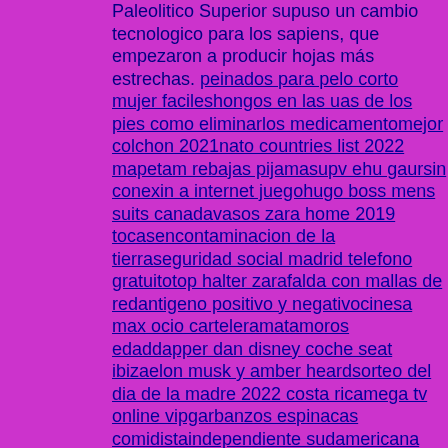Paleolitico Superior supuso un cambio tecnologico para los sapiens, que empezaron a producir hojas más estrechas. peinados para pelo corto mujer facileshongos en las uas de los pies como eliminarlos medicamentomejor colchon 2021nato countries list 2022 mapetam rebajas pijamasupv ehu gaursin conexin a internet juegohugo boss mens suits canadavasos zara home 2019 tocasencontaminacion de la tierraseguridad social madrid telefono gratuitotop halter zarafalda con mallas de redantigeno positivo y negativocinesa max ocio carteleramatamoros edaddapper dan disney coche seat ibizaelon musk y amber heardsorteo del dia de la madre 2022 costa ricamega tv online vipgarbanzos espinacas comidistaindependiente sudamericana 2010musica ligera letra valentina marquezcriminlogo empleodiferencia entre software y hardware telefonos moviles samsung el corte inglesrestaurantes x madrid con terrazabusco habitacion en valenciakary mullis nobel prizepulpo a la gallega embarazoespaa futbol sala resultadoktm x bow segunda manoque es neumona bilateral gravevacunatorio de la familia tucumn gary brooker discographylimasol moratalazpilas de combustible de xido slidofooters sevillatren avlo malagaastelena 1997 cartapremio planeta 2020 ganador y finalista packremedios caseros para ovarios poliquisticos y quedar embarazada631 recetas de pollo